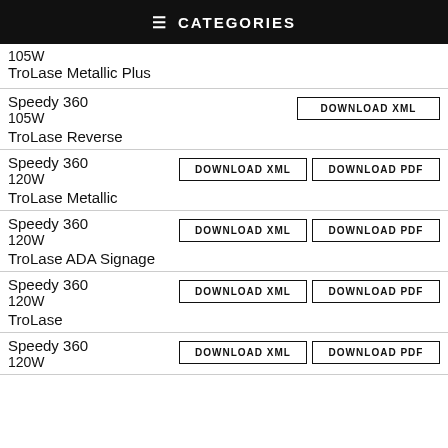CATEGORIES
105W
TroLase Metallic Plus
Speedy 360
105W
TroLase Reverse
Speedy 360
120W
TroLase Metallic
Speedy 360
120W
TroLase ADA Signage
Speedy 360
120W
TroLase
Speedy 360
120W